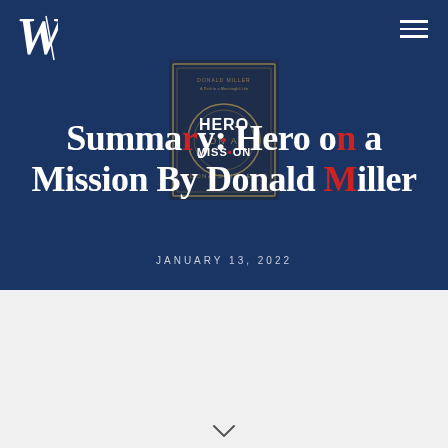[Figure (logo): White stylized W letter logo in top-left corner]
[Figure (illustration): Book cover of 'Hero on a Mission' by Donald Miller, dark blue with circular gold emblem and red text]
Summary: Hero on a Mission By Donald Miller
JANUARY 13, 2022